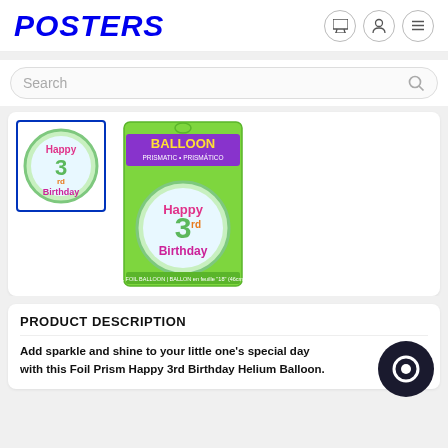[Figure (logo): POSTERS logo in bold blue italic text]
[Figure (illustration): Header navigation icons: shopping cart, user profile, hamburger menu — each in a circle outline button]
[Figure (screenshot): Search bar with placeholder text 'Search' and magnifying glass icon on the right]
[Figure (photo): Thumbnail image of Happy 3rd Birthday foil balloon with blue border selected state]
[Figure (photo): Main product image: Foil Prism Happy 3rd Birthday Helium Balloon in packaging with green balloon visible and 'BALLOON PRISMATIC' header label]
PRODUCT DESCRIPTION
Add sparkle and shine to your little one's special day with this Foil Prism Happy 3rd Birthday Helium Balloon.